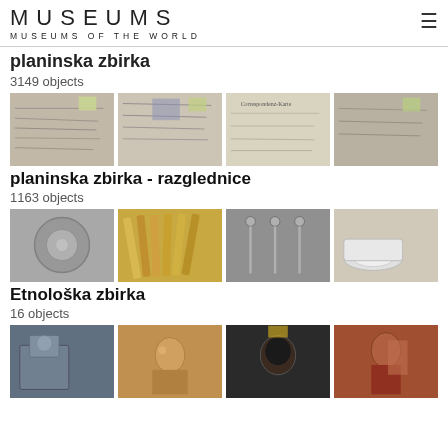MUSEUMS
MUSEUMS OF THE WORLD
planinska zbirka
3149 objects
[Figure (photo): Four thumbnail images of handwritten postcards]
planinska zbirka - razglednice
1163 objects
[Figure (photo): Four thumbnail images of silverware and cutlery items]
Etnološka zbirka
16 objects
[Figure (photo): Four thumbnail images of religious and historical artwork/paintings]